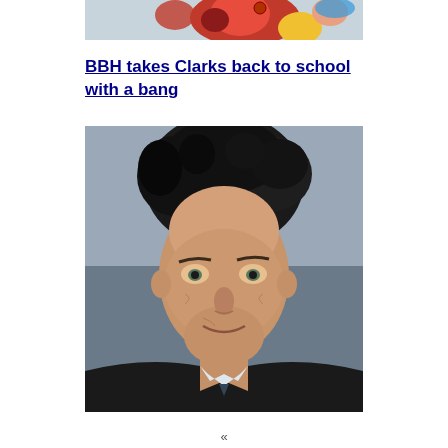[Figure (photo): Partial view of an illustrated/animated image at the top, colorful cartoon-style artwork with red and yellow characters]
BBH takes Clarks back to school with a bang
[Figure (photo): Portrait photograph of a middle-aged man with dark tousled hair, wearing a dark suit jacket and light shirt, slight smile, photographed against a blurred background]
«